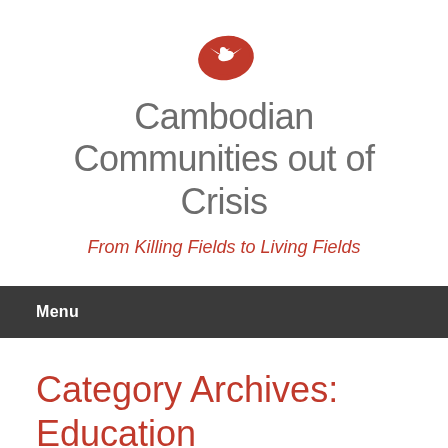[Figure (logo): Red map of Cambodia with a white dove/bird silhouette inside]
Cambodian Communities out of Crisis
From Killing Fields to Living Fields
Menu
Category Archives: Education